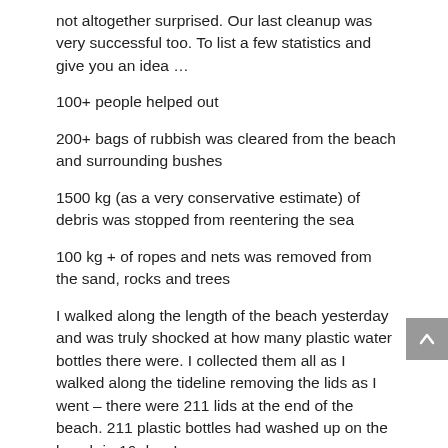not altogether surprised.  Our last cleanup was very successful too.  To list a few statistics and give you an idea …
100+ people helped out
200+ bags of rubbish was cleared from the beach and surrounding bushes
1500 kg (as a very conservative estimate) of debris was stopped from reentering the sea
100 kg + of ropes and nets was removed from the sand, rocks and trees
I walked along the length of the beach yesterday and was truly shocked at how many plastic water bottles there were.  I collected them all as I walked along the tideline removing the lids as I went – there were 211 lids at the end of the beach.  211 plastic bottles had washed up on the beach in 16 days!